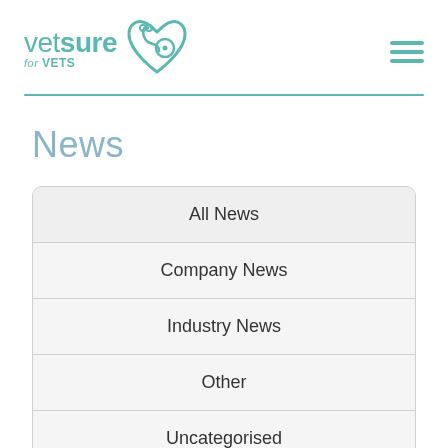vetsure for VETS
News
All News
Company News
Industry News
Other
Uncategorised